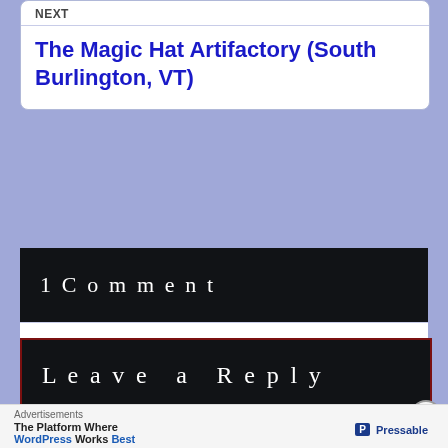NEXT
The Magic Hat Artifactory (South Burlington, VT)
1 Comment
Pingback: Burlington, VT – Umbrella Terms
Leave a Reply
Advertisements
The Platform Where WordPress Works Best
Pressable